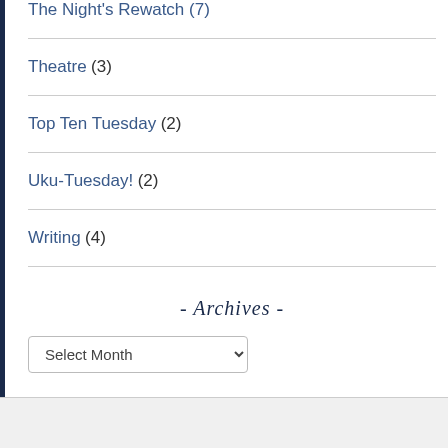The Night's Rewatch (7)
Theatre (3)
Top Ten Tuesday (2)
Uku-Tuesday! (2)
Writing (4)
- Archives -
Select Month